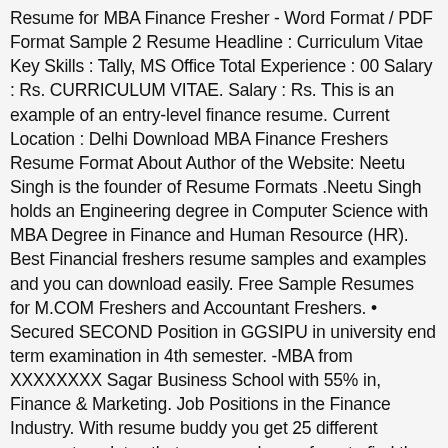Resume for MBA Finance Fresher - Word Format / PDF Format Sample 2 Resume Headline : Curriculum Vitae Key Skills : Tally, MS Office Total Experience : 00 Salary : Rs. CURRICULUM VITAE. Salary : Rs. This is an example of an entry-level finance resume. Current Location : Delhi Download MBA Finance Freshers Resume Format About Author of the Website: Neetu Singh is the founder of Resume Formats .Neetu Singh holds an Engineering degree in Computer Science with MBA Degree in Finance and Human Resource (HR). Best Financial freshers resume samples and examples and you can download easily. Free Sample Resumes for M.COM Freshers and Accountant Freshers. • Secured SECOND Position in GGSIPU in university end term examination in 4th semester. -MBA from XXXXXXXX Sagar Business School with 55% in, Finance & Marketing. Job Positions in the Finance Industry. With resume buddy you get 25 different resume templates that you can choose from to find the best fit for yourself. Career Summary: It is mainly the ability to resolve queries and issues that is related to